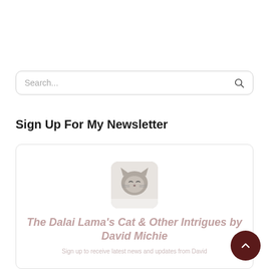[Figure (screenshot): Search bar with rounded border, placeholder text 'Search...' and a magnifying glass icon on the right]
Sign Up For My Newsletter
[Figure (illustration): Newsletter signup widget with a cat photo (Himalayan/Ragdoll cat), title 'The Dalai Lama's Cat & Other Intrigues by David Michie', and a subtitle line in light pink text]
[Figure (other): Dark brown circular scroll-to-top button with an upward chevron arrow]